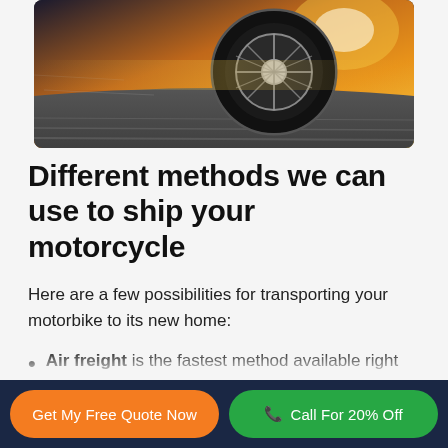[Figure (photo): Motorcycle wheel and tire close-up on road with motion blur and sunset light in background]
Different methods we can use to ship your motorcycle
Here are a few possibilities for transporting your motorbike to its new home:
Air freight is the fastest method available right now. While it can deliver your items within a few days, this is to be one of the
Get My Free Quote Now | Call For 20% Off